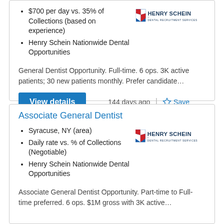$700 per day vs. 35% of Collections (based on experience)
Henry Schein Nationwide Dental Opportunities
General Dentist Opportunity. Full-time. 6 ops. 3K active patients; 30 new patients monthly. Prefer candidate…
View details
144 days ago
Save
Associate General Dentist
Syracuse, NY (area)
Daily rate vs. % of Collections (Negotiable)
Henry Schein Nationwide Dental Opportunities
Associate General Dentist Opportunity. Part-time to Full-time preferred. 6 ops. $1M gross with 3K active…